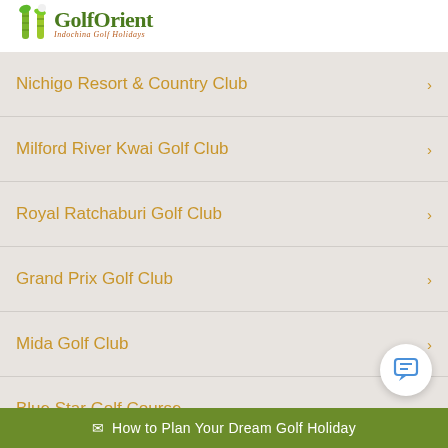GolfOrient - Indochina Golf Holidays
Nichigo Resort & Country Club
Milford River Kwai Golf Club
Royal Ratchaburi Golf Club
Grand Prix Golf Club
Mida Golf Club
Blue Star Golf Course
✉ How to Plan Your Dream Golf Holiday